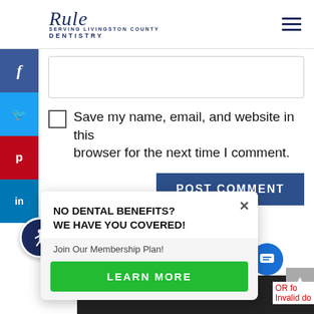Rule Dentistry
[Figure (screenshot): Comment text input box (empty)]
Save my name, email, and website in this browser for the next time I comment.
[Figure (screenshot): POST COMMENT button]
[Figure (infographic): Popup overlay: NO DENTAL BENEFITS? WE HAVE YOU COVERED! Join Our Membership Plan! LEARN MORE]
OR fo... Invalid do...